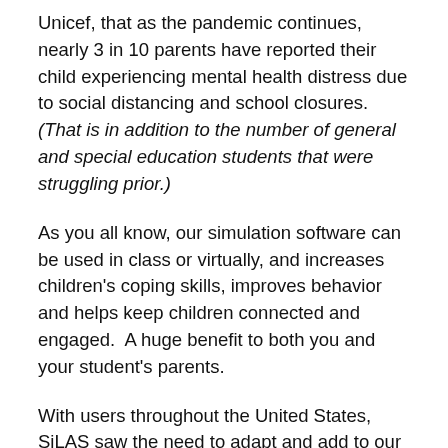Unicef, that as the pandemic continues, nearly 3 in 10 parents have reported their child experiencing mental health distress due to social distancing and school closures. (That is in addition to the number of general and special education students that were struggling prior.)
As you all know, our simulation software can be used in class or virtually, and increases children's coping skills, improves behavior and helps keep children connected and engaged. A huge benefit to both you and your student's parents.
With users throughout the United States, SiLAS saw the need to adapt and add to our program to provide implementation options for almost any setting. Over the summer, our development team was in full swing.Whether you are return user, or brand new to SiLAS, We think you will love what you see...